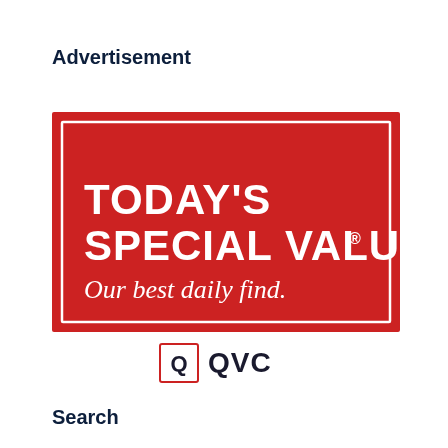Advertisement
[Figure (logo): QVC Today's Special Value advertisement. Red rectangle with white border containing bold white text 'TODAY'S SPECIAL VALUE®' and italic white text 'Our best daily find.' Below the red box is the QVC logo: a square with a Q icon followed by 'QVC' in dark text.]
Search